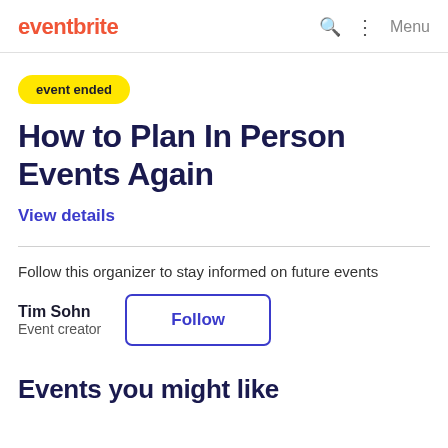eventbrite
event ended
How to Plan In Person Events Again
View details
Follow this organizer to stay informed on future events
Tim Sohn
Event creator
Follow
Events you might like